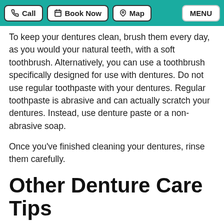Call | Book Now | Map | MENU
To keep your dentures clean, brush them every day, as you would your natural teeth, with a soft toothbrush. Alternatively, you can use a toothbrush specifically designed for use with dentures. Do not use regular toothpaste with your dentures. Regular toothpaste is abrasive and can actually scratch your dentures. Instead, use denture paste or a non-abrasive soap.
Once you’ve finished cleaning your dentures, rinse them carefully.
Other Denture Care Tips
In addition to cleaning your dentures, you should